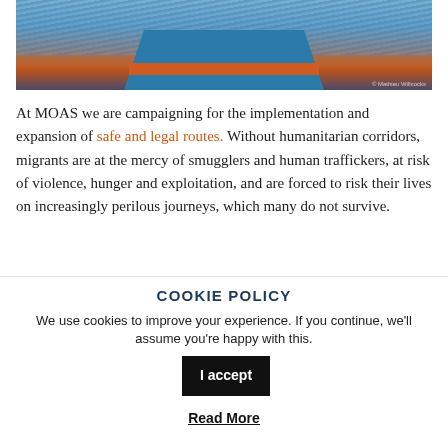[Figure (photo): Aerial or front-on photo of a blue boat hull on dark ocean water, with orange trim/stripe near the waterline.]
At MOAS we are campaigning for the implementation and expansion of safe and legal routes. Without humanitarian corridors, migrants are at the mercy of smugglers and human traffickers, at risk of violence, hunger and exploitation, and are forced to risk their lives on increasingly perilous journeys, which many do not survive.
COOKIE POLICY
We use cookies to improve your experience. If you continue, we'll assume you're happy with this.
I accept
Read More